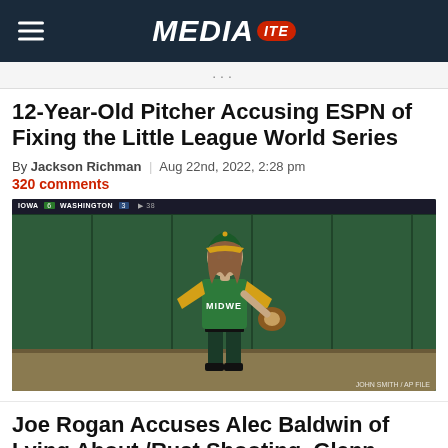MEDIAITE
12-Year-Old Pitcher Accusing ESPN of Fixing the Little League World Series
By Jackson Richman | Aug 22nd, 2022, 2:28 pm
320 comments
[Figure (photo): Young baseball pitcher in green and yellow uniform with 'MIDWEST' on jersey, wearing a green cap, standing on a baseball field with a green outfield wall behind him. ESPN scoreboard visible at top showing IOWA vs WASHINGTON score.]
Joe Rogan Accuses Alec Baldwin of Lying About/Rust Shooting, Glenn Hellovale